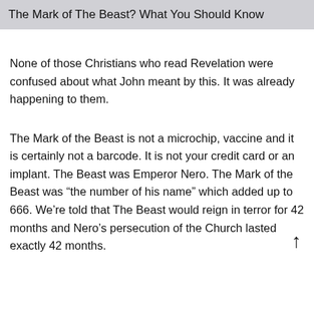The Mark of The Beast? What You Should Know
None of those Christians who read Revelation were confused about what John meant by this. It was already happening to them.
The Mark of the Beast is not a microchip, vaccine and it is certainly not a barcode. It is not your credit card or an implant. The Beast was Emperor Nero. The Mark of the Beast was “the number of his name” which added up to 666. We’re told that The Beast would reign in terror for 42 months and Nero’s persecution of the Church lasted exactly 42 months.